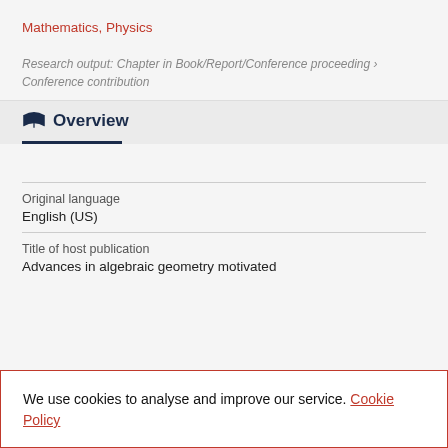Mathematics, Physics
Research output: Chapter in Book/Report/Conference proceeding › Conference contribution
Overview
| Original language |
| --- |
| English (US) |
Title of host publication
Advances in algebraic geometry motivated
We use cookies to analyse and improve our service. Cookie Policy